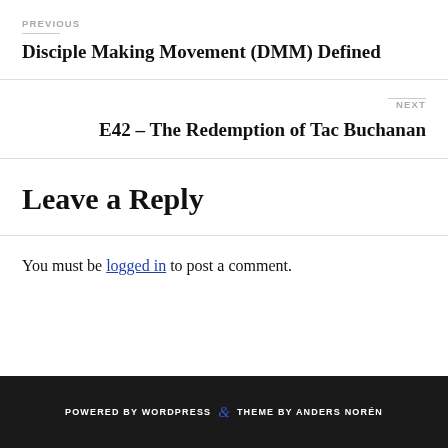PREVIOUS
Disciple Making Movement (DMM) Defined
NEXT
E42 – The Redemption of Tac Buchanan
Leave a Reply
You must be logged in to post a comment.
POWERED BY WORDPRESS & THEME BY ANDERS NORÉN